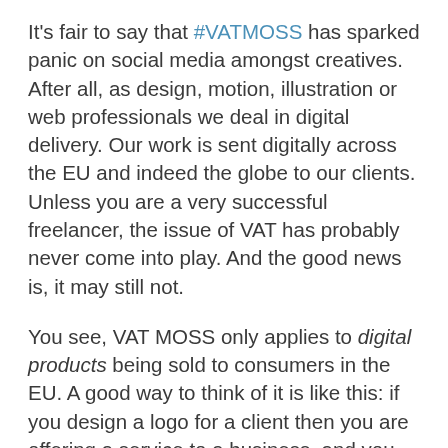It's fair to say that #VATMOSS has sparked panic on social media amongst creatives. After all, as design, motion, illustration or web professionals we deal in digital delivery. Our work is sent digitally across the EU and indeed the globe to our clients. Unless you are a very successful freelancer, the issue of VAT has probably never come into play. And the good news is, it may still not.
You see, VAT MOSS only applies to digital products being sold to consumers in the EU. A good way to think of it is like this: if you design a logo for a client then you are offering a service to a business, and you needn't change anything. If you're simply a freelance illustrator or designer, VAT MOSS does not affect you. However, if you are also selling logo templates and so on through your own website – that are marketed to consumers –